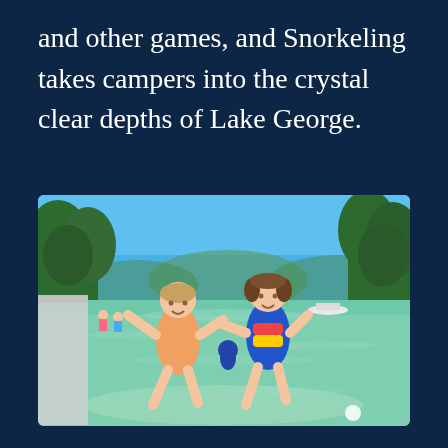and other games, and Snorkeling takes campers into the crystal clear depths of Lake George.
[Figure (photo): Two young girls in swimsuits jumping joyfully near the clear, shallow waters of Lake George, with green trees and blue sky in the background.]